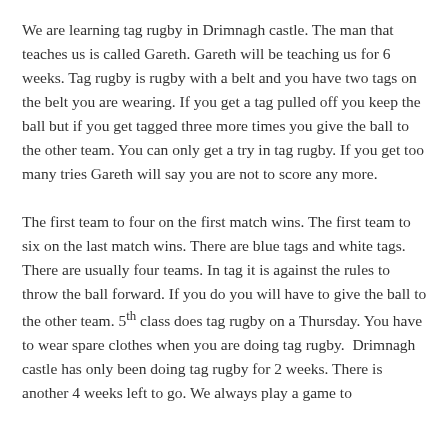We are learning tag rugby in Drimnagh castle. The man that teaches us is called Gareth. Gareth will be teaching us for 6 weeks. Tag rugby is rugby with a belt and you have two tags on the belt you are wearing. If you get a tag pulled off you keep the ball but if you get tagged three more times you give the ball to the other team. You can only get a try in tag rugby. If you get too many tries Gareth will say you are not to score any more.

The first team to four on the first match wins. The first team to six on the last match wins. There are blue tags and white tags. There are usually four teams. In tag it is against the rules to throw the ball forward. If you do you will have to give the ball to the other team. 5th class does tag rugby on a Thursday. You have to wear spare clothes when you are doing tag rugby. Drimnagh castle has only been doing tag rugby for 2 weeks. There is another 4 weeks left to go. We always play a game to